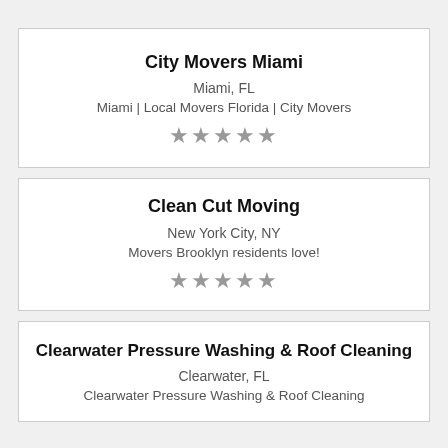City Movers Miami
Miami, FL
Miami | Local Movers Florida | City Movers
★★★★★
Clean Cut Moving
New York City, NY
Movers Brooklyn residents love!
★★★★★
Clearwater Pressure Washing & Roof Cleaning
Clearwater, FL
Clearwater Pressure Washing & Roof Cleaning